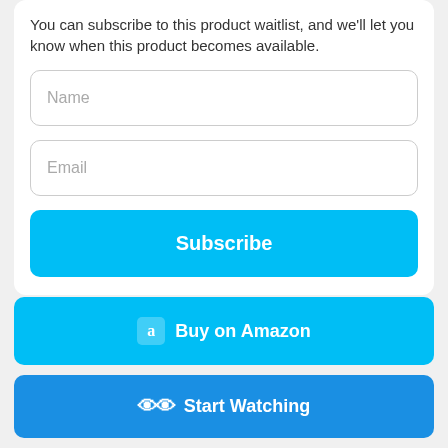You can subscribe to this product waitlist, and we'll let you know when this product becomes available.
Name
Email
Subscribe
Product Stats
[Figure (other): Loading spinner - partial blue arc circle indicating loading state]
Buy on Amazon
Start Watching